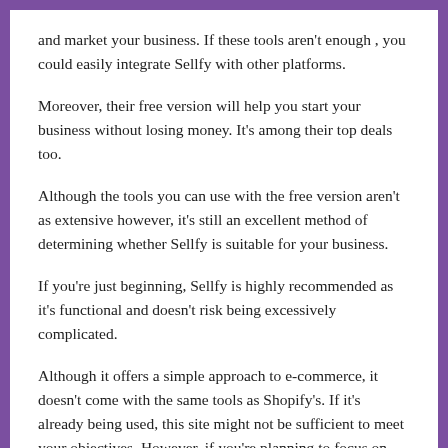and market your business. If these tools aren't enough , you could easily integrate Sellfy with other platforms.
Moreover, their free version will help you start your business without losing money. It's among their top deals too.
Although the tools you can use with the free version aren't as extensive however, it's still an excellent method of determining whether Sellfy is suitable for your business.
If you're just beginning, Sellfy is highly recommended as it's functional and doesn't risk being excessively complicated.
Although it offers a simple approach to e-commerce, it doesn't come with the same tools as Shopify's. If it's already being used, this site might not be sufficient to meet your objectives. However, if you're planning to focus on selling print-on demand and digital products, it's definitely worth a shot.